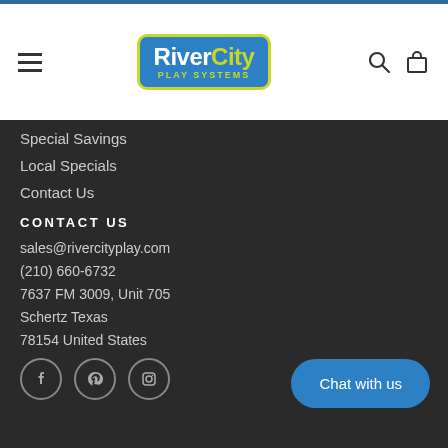[Figure (logo): RiverCity Play Systems logo — blue rounded rectangle with yellow border, white text 'RiverCity' and yellow text 'PLAY SYSTEMS']
Special Savings
Local Specials
Contact Us
CONTACT US
sales@rivercityplay.com
(210) 660-6732
7637 FM 3009, Unit 705
Schertz Texas
78154 United States
[Figure (illustration): Social media icons: Facebook, Pinterest, Instagram in circular outlines]